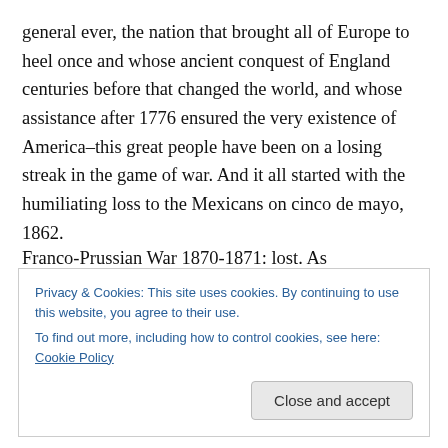general ever, the nation that brought all of Europe to heel once and whose ancient conquest of England centuries before that changed the world, and whose assistance after 1776 ensured the very existence of America–this great people have been on a losing streak in the game of war. And it all started with the humiliating loss to the Mexicans on cinco de mayo, 1862.
A recap of the French misfortunes of war since that time, again thoroughly research-i-pedia'd by moi:
Franco-Prussian War 1870-1871: lost. As...
Privacy & Cookies: This site uses cookies. By continuing to use this website, you agree to their use. To find out more, including how to control cookies, see here: Cookie Policy
Close and accept
surviving males under 60 had very little competition for